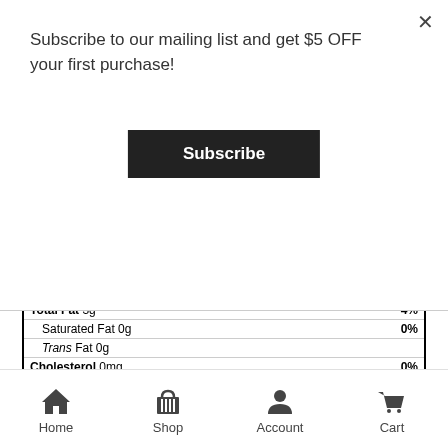Subscribe to our mailing list and get $5 OFF your first purchase!
Subscribe
| Amount Per Serving |  |
| Calories | 110 |
|  | % Daily Value* |
| Total Fat 3g | 4% |
| Saturated Fat 0g | 0% |
| Trans Fat 0g |  |
| Cholesterol 0mg | 0% |
| Sodium 90mg | 4% |
| Total Carbohydrate 20g | 7% |
| Dietary Fiber 12g | 43% |
| Total Sugars 0g |  |
| Includes 0g Added Sugars | 0% |
Home   Shop   Account   Cart